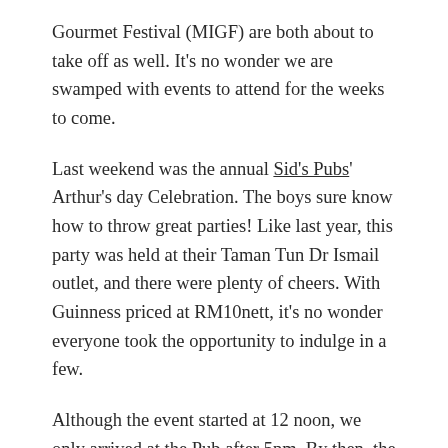Gourmet Festival (MIGF) are both about to take off as well. It's no wonder we are swamped with events to attend for the weeks to come.
Last weekend was the annual Sid's Pubs' Arthur's day Celebration. The boys sure know how to throw great parties! Like last year, this party was held at their Taman Tun Dr Ismail outlet, and there were plenty of cheers. With Guinness priced at RM10nett, it's no wonder everyone took the opportunity to indulge in a few.
Although the event started at 12 noon, we only arrived at the Pub after 5pm. By then, the party was in full swing. There were people everywhere! Spilling out to the streets, even. According to Frank, around 500 people turned up. We took no time in